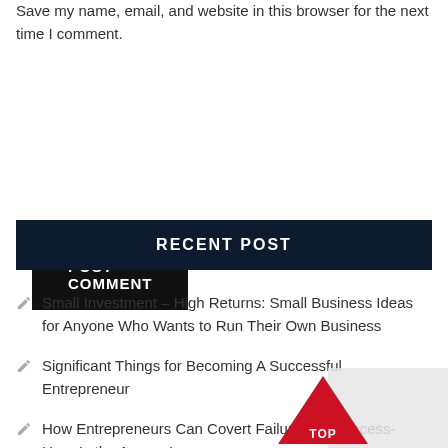Save my name, email, and website in this browser for the next time I comment.
POST COMMENT
RECENT POST
Small Investment – High Returns: Small Business Ideas for Anyone Who Wants to Run Their Own Business
Significant Things for Becoming A Successful Entrepreneur
How Entrepreneurs Can Covert Failure into Success- Here Is the Answer!